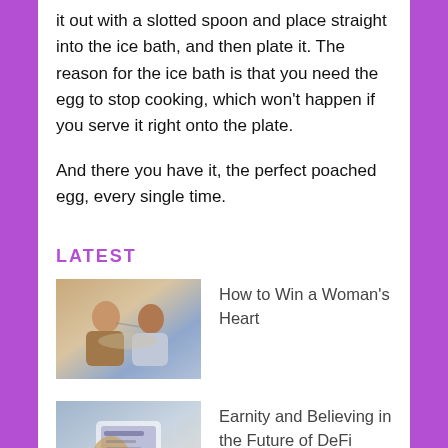it out with a slotted spoon and place straight into the ice bath, and then plate it. The reason for the ice bath is that you need the egg to stop cooking, which won't happen if you serve it right onto the plate.

And there you have it, the perfect poached egg, every single time.
LATEST
[Figure (photo): Couple at a table sharing food, woman feeding man]
How to Win a Woman's Heart
[Figure (photo): Person holding a tablet or book, DeFi related image]
Earnity and Believing in the Future of DeFi
[Figure (photo): Blonde woman portrait]
Earnity's Dan Schatt and Domenic Carosa on What SMEs Stand to Gain with DeFi